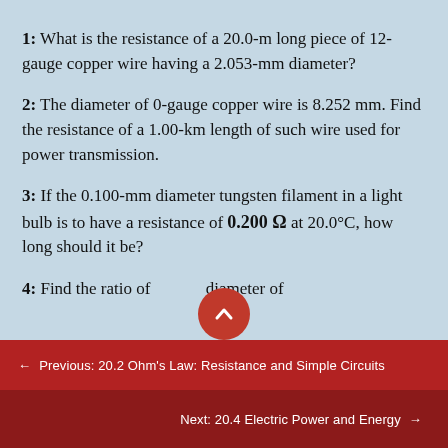1: What is the resistance of a 20.0-m long piece of 12-gauge copper wire having a 2.053-mm diameter?
2: The diameter of 0-gauge copper wire is 8.252 mm. Find the resistance of a 1.00-km length of such wire used for power transmission.
3: If the 0.100-mm diameter tungsten filament in a light bulb is to have a resistance of 0.200 Ω at 20.0°C, how long should it be?
4: Find the ratio of diameter of
← Previous: 20.2 Ohm's Law: Resistance and Simple Circuits
Next: 20.4 Electric Power and Energy →